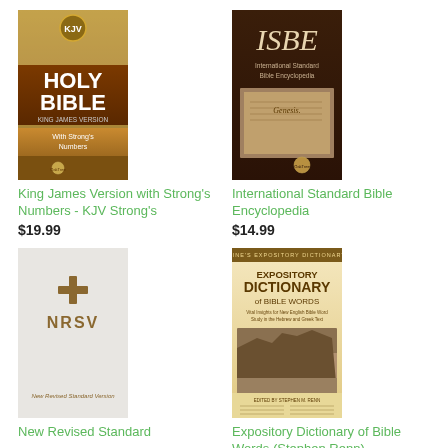[Figure (illustration): Book cover: Holy Bible King James Version with Strong's Numbers, OakTree publisher]
King James Version with Strong's Numbers - KJV Strong's
$19.99
[Figure (illustration): Book cover: ISBE International Standard Bible Encyclopedia, OakTree publisher]
International Standard Bible Encyclopedia
$14.99
[Figure (illustration): Book cover: NRSV New Revised Standard Version, plain light gray cover]
New Revised Standard
[Figure (illustration): Book cover: Expository Dictionary of Bible Words, Vine's Expository Dictionary, edited by Stephen M. Renn]
Expository Dictionary of Bible Words (Stephen Renn)